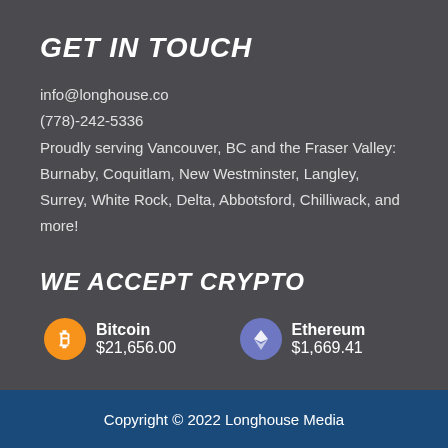GET IN TOUCH
info@longhouse.co
(778)-242-5336
Proudly serving Vancouver, BC and the Fraser Valley: Burnaby, Coquitlam, New Westminster, Langley, Surrey, White Rock, Delta, Abbotsford, Chilliwack, and more!
WE ACCEPT CRYPTO
[Figure (infographic): Bitcoin logo icon (orange circle with B symbol) followed by text 'Bitcoin $21,656.00', and Ethereum logo icon (purple circle with diamond/eth symbol) followed by text 'Ethereum $1,669.41']
Copyright © 2022 Longhouse Media